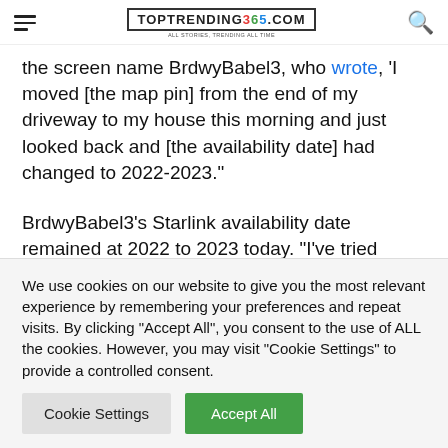TopTrending365.com
the screen name BrdwyBabel3, who wrote, 'I moved [the map pin] from the end of my driveway to my house this morning and just looked back and [the availability date] had changed to 2022-2023.'
BrdwyBabel3's Starlink availability date remained at 2022 to 2023 today. "I've tried emailing the starlinkresolutions@spacex.com address without
We use cookies on our website to give you the most relevant experience by remembering your preferences and repeat visits. By clicking "Accept All", you consent to the use of ALL the cookies. However, you may visit "Cookie Settings" to provide a controlled consent.